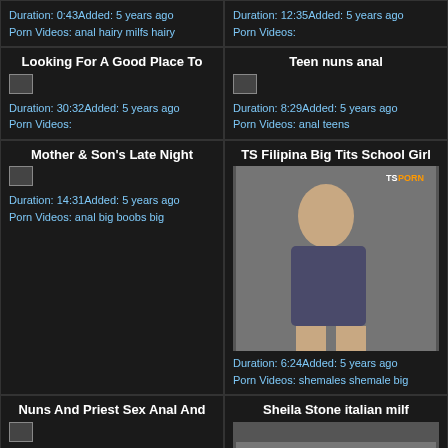Duration: 0:43Added: 5 years ago Porn Videos: anal hairy milfs hairy
Duration: 12:35Added: 5 years ago Porn Videos:
Looking For A Good Place To
Duration: 30:32Added: 5 years ago Porn Videos:
Teen nuns anal
Duration: 8:29Added: 5 years ago Porn Videos: anal teens
Mother & Son's Late Night
Duration: 14:31Added: 5 years ago Porn Videos: anal big boobs big
TS Filipina Big Tits School Girl
[Figure (photo): Thumbnail photo of person]
Duration: 6:24Added: 5 years ago Porn Videos: shemales shemale big
Nuns And Priest Sex Anal And
Duration: 13:19Added: 5 years ago Porn Videos:
Sheila Stone italian milf
[Figure (photo): Partial thumbnail image]